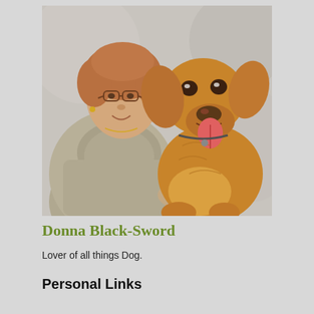[Figure (photo): A middle-aged woman with short reddish-brown hair and glasses, wearing a beige/grey knit sweater, posing with a golden retriever dog. Both are looking at the camera against a light grey background.]
Donna Black-Sword
Lover of all things Dog.
Personal Links